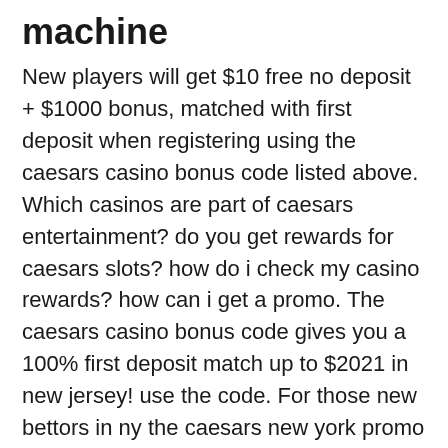machine
New players will get $10 free no deposit + $1000 bonus, matched with first deposit when registering using the caesars casino bonus code listed above. Which casinos are part of caesars entertainment? do you get rewards for caesars slots? how do i check my casino rewards? how can i get a promo. The caesars casino bonus code gives you a 100% first deposit match up to $2021 in new jersey! use the code. For those new bettors in ny the caesars new york promo code is “lineupSczr” with an offer of a $1,100 first bet bonus! simply. With a thriving online sportsbook offering sports betting odds. Be amazed at the sheer number of game variations that caesars casino online has to offer new jersey. Use caesars promo code freeczrs to receive $2000 deposit bonus from caesars online casino. Sign up at caesars’ licensed nj gambling site today! The